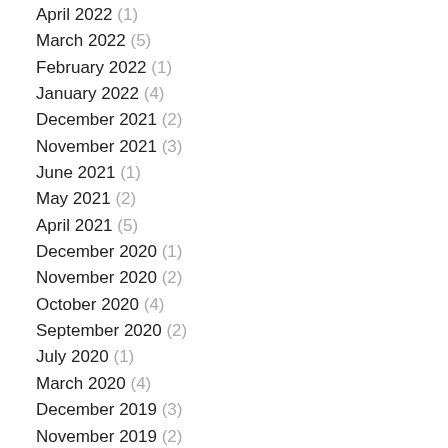April 2022 (1)
March 2022 (5)
February 2022 (1)
January 2022 (4)
December 2021 (2)
November 2021 (3)
June 2021 (1)
May 2021 (2)
April 2021 (5)
December 2020 (1)
November 2020 (2)
October 2020 (4)
September 2020 (2)
July 2020 (1)
March 2020 (4)
December 2019 (3)
November 2019 (2)